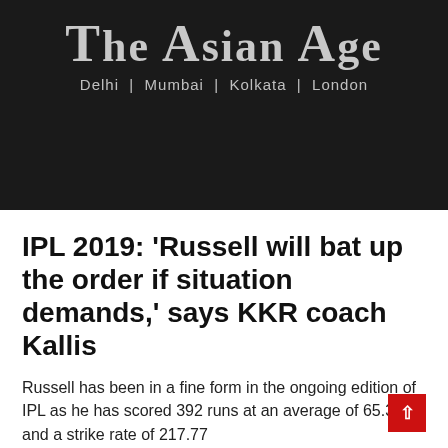The Asian Age
Delhi | Mumbai | Kolkata | London
IPL 2019: 'Russell will bat up the order if situation demands,' says KKR coach Kallis
Russell has been in a fine form in the ongoing edition of IPL as he has scored 392 runs at an average of 65.33 and a strike rate of 217.77
24 Apr 2019 10:15 AM